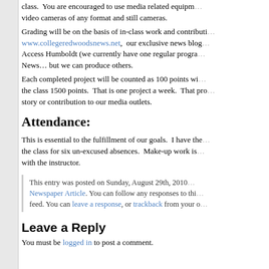class. You are encouraged to use media related equipment, video cameras of any format and still cameras.
Grading will be on the basis of in-class work and contributions to www.collegeredwoodsnews.net, our exclusive news blog, Access Humboldt (we currently have one regular program, News… but we can produce others.
Each completed project will be counted as 100 points with the class 1500 points. That is one project a week. That project is a story or contribution to our media outlets.
Attendance:
This is essential to the fulfillment of our goals. I have the class for six un-excused absences. Make-up work is with the instructor.
This entry was posted on Sunday, August 29th, 2010 Newspaper Article. You can follow any responses to this feed. You can leave a response, or trackback from your o
Leave a Reply
You must be logged in to post a comment.